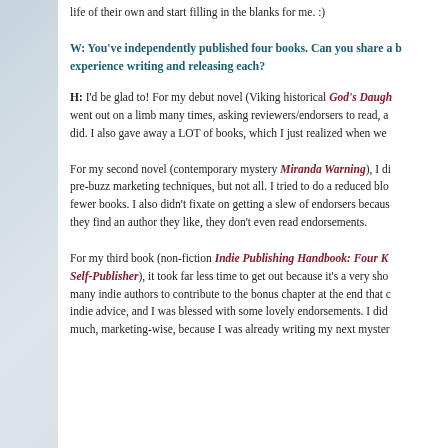life of their own and start filling in the blanks for me. :)
W: You've independently published four books. Can you share a bit about your experience writing and releasing each?
H: I'd be glad to! For my debut novel (Viking historical God's Daughter), I went out on a limb many times, asking reviewers/endorsers to read, and many did. I also gave away a LOT of books, which I just realized when we
For my second novel (contemporary mystery Miranda Warning), I di... pre-buzz marketing techniques, but not all. I tried to do a reduced blo... fewer books. I also didn't fixate on getting a slew of endorsers becaus... they find an author they like, they don't even read endorsements.
For my third book (non-fiction Indie Publishing Handbook: Four K... Self-Publisher), it took far less time to get out because it's a very sho... many indie authors to contribute to the bonus chapter at the end that c... indie advice, and I was blessed with some lovely endorsements. I did... much, marketing-wise, because I was already writing my next myster...